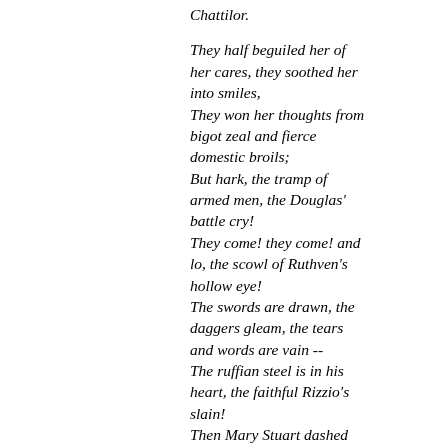Chattilor.

They half beguiled her of her cares, they soothed her into smiles,
They won her thoughts from bigot zeal and fierce domestic broils;
But hark, the tramp of armed men, the Douglas' battle cry!
They come! they come! and lo, the scowl of Ruthven's hollow eye!
The swords are drawn, the daggers gleam, the tears and words are vain --
The ruffian steel is in his heart, the faithful Rizzio's slain!
Then Mary Stuart dashed aside the tears that trickling fell:
"Now for my father's arm!" she cried; "my woman's